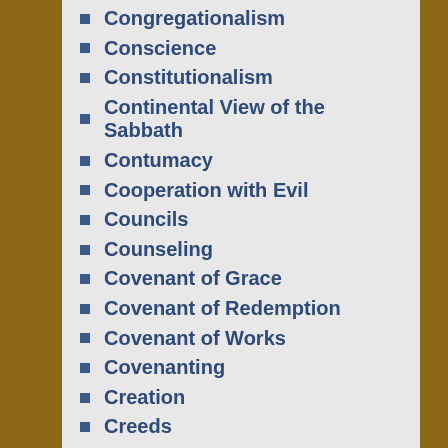Congregationalism
Conscience
Constitutionalism
Continental View of the Sabbath
Contumacy
Cooperation with Evil
Councils
Counseling
Covenant of Grace
Covenant of Redemption
Covenant of Works
Covenanting
Creation
Creeds
Creeds in Worship
Customs
Dancing & Drama in Worship
Day of Christ's Crucifixion
Deacons
Dead Sea Scrolls
Death
Decreed of God